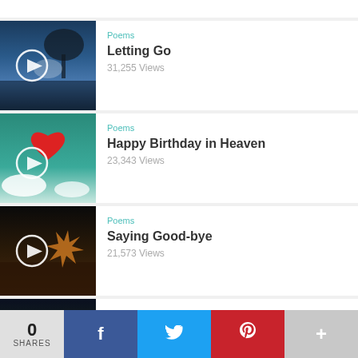Poems — Letting Go — 31,255 Views
Poems — Happy Birthday in Heaven — 23,343 Views
Poems — Saying Good-bye — 21,573 Views
Quotes — 12 Quotes to help you deal with Loss of a Loved One — 18,269 Views
0 SHARES | Facebook | Twitter | Pinterest | More